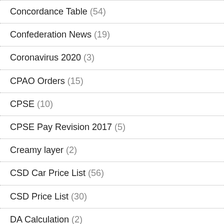Concordance Table (54)
Confederation News (19)
Coronavirus 2020 (3)
CPAO Orders (15)
CPSE (10)
CPSE Pay Revision 2017 (5)
Creamy layer (2)
CSD Car Price List (56)
CSD Price List (30)
DA Calculation (2)
DA Orders (31)